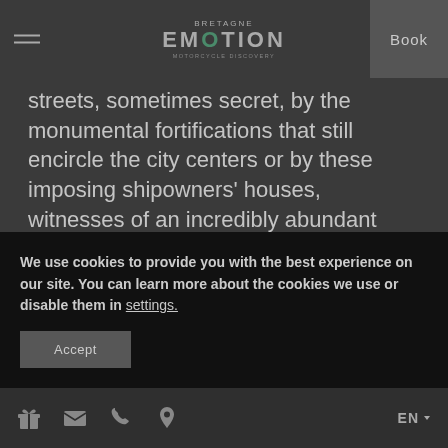BRETAGNE EMOTION | Book
streets, sometimes secret, by the monumental fortifications that still encircle the city centers or by these imposing shipowners' houses, witnesses of an incredibly abundant past. Then, stroll through the more commercial streets which will seduce you with their liveliness, with the appetizing scents of local specialties to be savored without moderation during the weekly markets. The tasting of a sausage cake while
We use cookies to provide you with the best experience on our site. You can learn more about the cookies we use or disable them in settings.
Accept
EN